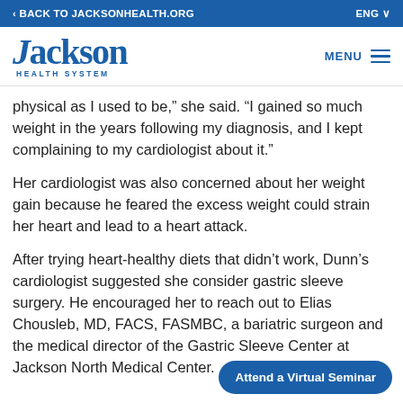< BACK TO JACKSONHEALTH.ORG   ENG
[Figure (logo): Jackson Health System logo in blue serif font]
physical as I used to be,” she said. “I gained so much weight in the years following my diagnosis, and I kept complaining to my cardiologist about it.”
Her cardiologist was also concerned about her weight gain because he feared the excess weight could strain her heart and lead to a heart attack.
After trying heart-healthy diets that didn’t work, Dunn’s cardiologist suggested she consider gastric sleeve surgery. He encouraged her to reach out to Elias Chousleb, MD, FACS, FASMBC, a bariatric surgeon and the medical director of the Gastric Sleeve Center at Jackson North Medical Center.
Attend a Virtual Seminar